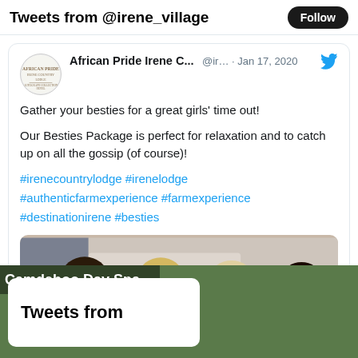Tweets from @irene_village
African Pride Irene C... @ir… · Jan 17, 2020
Gather your besties for a great girls' time out!

Our Besties Package is perfect for relaxation and to catch up on all the gossip (of course)!

#irenecountrylodge #irenelodge #authenticfarmexperience #farmexperience #destinationirene #besties
[Figure (photo): Four women smiling together, wearing light pink/blush outfits, in a bright indoor setting]
Camdeboo Day Spa
Tweets from